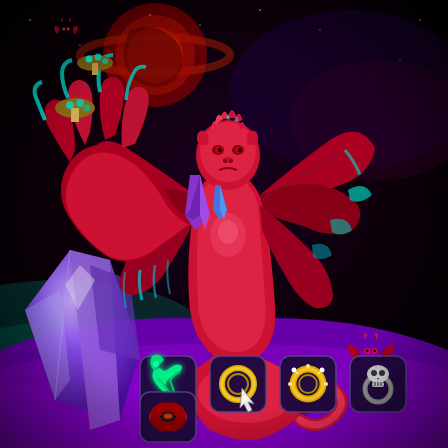[Figure (illustration): Digital fantasy game art illustration featuring a red-skinned female demon character with bat wings, a crown of petals, a long serpentine tail, and large clawed tentacle arms with blue crystal/ice shards. She stands on a purple alien planet surface under a dark space sky with a red ringed planet/moon. In the foreground lower-left is a large blue-purple crystal shard. A small red bat creature flies in the upper-left corner and another in the lower-right area. At the bottom of the image are five game item icon slots in rounded square frames arranged in two rows: top row has four icons (a green crab/scorpion claw item, a gold ring with cursor, a gold ring with sparkles, a grey skull ring), bottom row has one icon (a red and black item/accessory).]